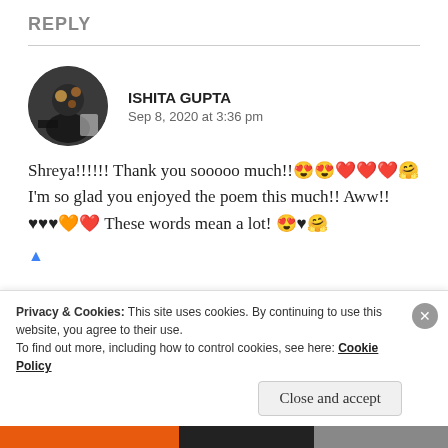REPLY
ISHITA GUPTA
Sep 8, 2020 at 3:36 pm
Shreya!!!!!! Thank you sooooo much!!😍😍❤️❤️❤️🤗 I'm so glad you enjoyed the poem this much!! Aww!!♥♥♥🧡❤️ These words mean a lot! 😍♥🤗
Privacy & Cookies: This site uses cookies. By continuing to use this website, you agree to their use.
To find out more, including how to control cookies, see here: Cookie Policy
Close and accept